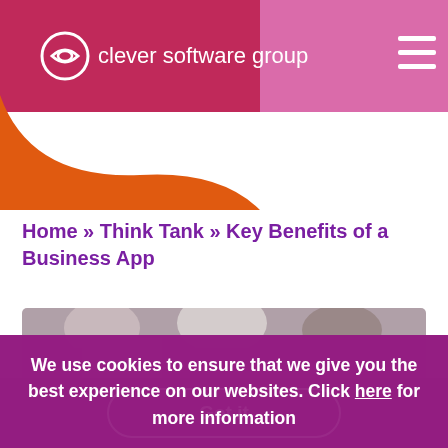clever software group
Home » Think Tank » Key Benefits of a Business App
[Figure (photo): People around a table, top portion visible, partially obscured by cookie notice.]
We use cookies to ensure that we give you the best experience on our websites. Click here for more information
Got it